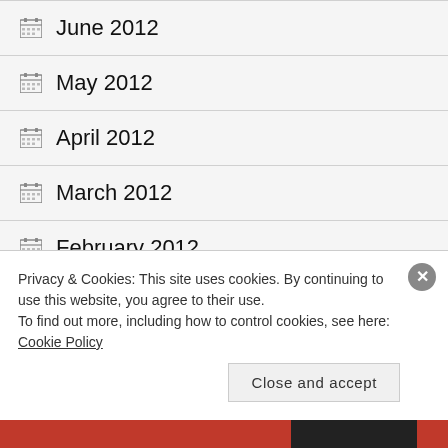June 2012
May 2012
April 2012
March 2012
February 2012
January 2012
Privacy & Cookies: This site uses cookies. By continuing to use this website, you agree to their use.
To find out more, including how to control cookies, see here: Cookie Policy
Close and accept